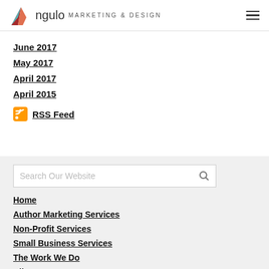Angulo MARKETING & DESIGN
June 2017
May 2017
April 2017
April 2015
RSS Feed
Home
Author Marketing Services
Non-Profit Services
Small Business Services
The Work We Do
Client Access